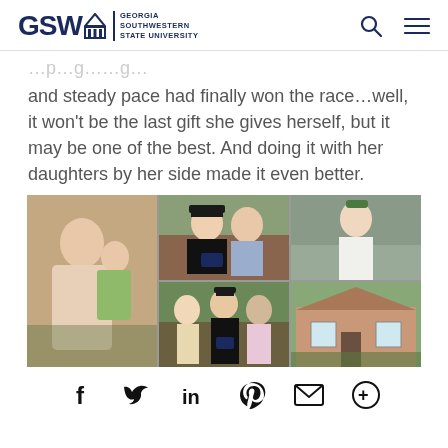GSW Georgia Southwestern State University
…p…g…and steady pace had finally won the race…well, it won't be the last gift she gives herself, but it may be one of the best. And doing it with her daughters by her side made it even better.
[Figure (photo): Grid of five photos: large photo on left showing a woman with a young girl; top center shows a graduate in cap and gown with a man in plaid shirt; top right shows a young woman in white dress; bottom center shows three women one in graduation cap and gown; bottom right shows a house exterior.]
Social share icons: Facebook, Twitter, LinkedIn, Pinterest, Email, More